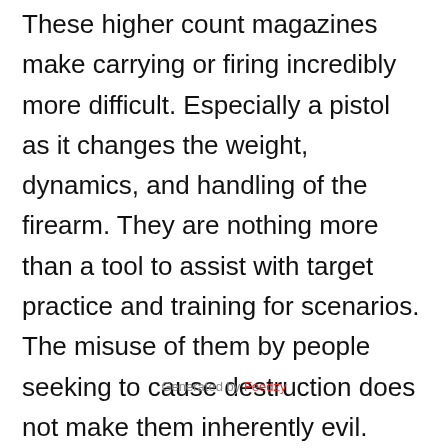These higher count magazines make carrying or firing incredibly more difficult. Especially a pistol as it changes the weight, dynamics, and handling of the firearm. They are nothing more than a tool to assist with target practice and training for scenarios. The misuse of them by people seeking to cause destruction does not make them inherently evil.
It's much like the people misusing high-end car parts to speed around illegally are the problems in high-speed accidents, not the car themselves. Or an angry person putting Visine in someone's drink to poison them. It's not the tool that is the problem, it's the person using it and their
Generated by Feedzy